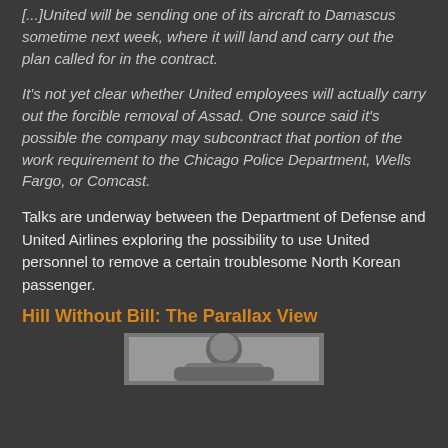[...]United will be sending one of its aircraft to Damascus sometime next week, where it will land and carry out the plan called for in the contract.
It's not yet clear whether United employees will actually carry out the forcible removal of Assad. One source said it's possible the company may subcontract that portion of the work requirement to the Chicago Police Department, Wells Fargo, or Comcast.
Talks are underway between the Department of Defense and United Airlines exploring the possibility to use United personnel to remove a certain troublesome North Korean passenger.
Hill Without Bill: The Parallax View
[Figure (photo): Black and white photograph of a person, partially visible at bottom of page]